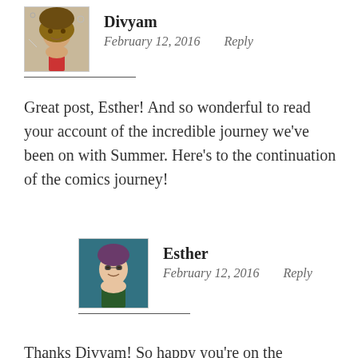Divyam
February 12, 2016   Reply
Great post, Esther! And so wonderful to read your account of the incredible journey we've been on with Summer. Here's to the continuation of the comics journey!
Esther
February 12, 2016   Reply
Thanks Divyam! So happy you're on the